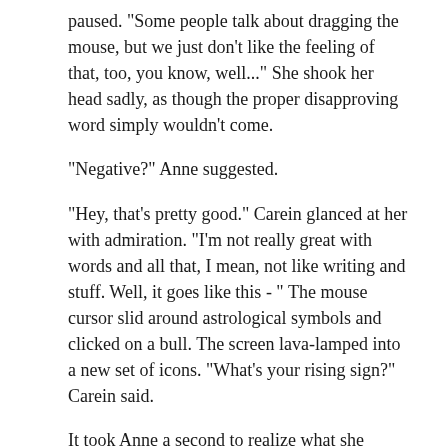paused. "Some people talk about dragging the mouse, but we just don't like the feeling of that, too, you know, well..." She shook her head sadly, as though the proper disapproving word simply wouldn't come.
"Negative?" Anne suggested.
"Hey, that's pretty good." Carein glanced at her with admiration. "I'm not really great with words and all that, I mean, not like writing and stuff. Well, it goes like this - " The mouse cursor slid around astrological symbols and clicked on a bull. The screen lava-lamped into a new set of icons. "What's your rising sign?" Carein said.
It took Anne a second to realize what she wanted, and another second to realize that she had no idea.
"I don't really have a lot of time," Anne said.